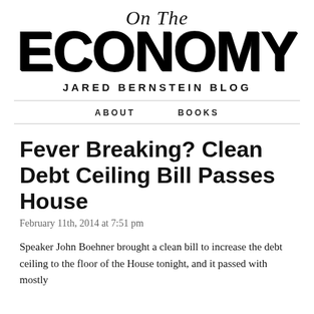On The ECONOMY — JARED BERNSTEIN BLOG
Fever Breaking? Clean Debt Ceiling Bill Passes House
February 11th, 2014 at 7:51 pm
Speaker John Boehner brought a clean bill to increase the debt ceiling to the floor of the House tonight, and it passed with mostly